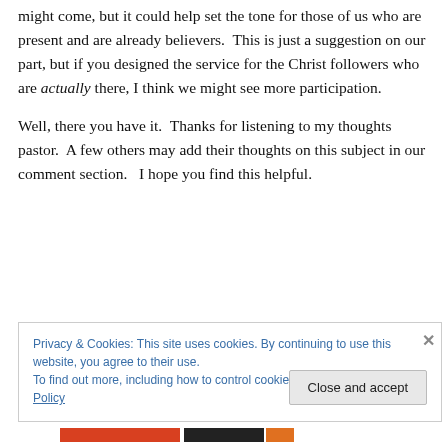might come, but it could help set the tone for those of us who are present and are already believers. This is just a suggestion on our part, but if you designed the service for the Christ followers who are actually there, I think we might see more participation.
Well, there you have it. Thanks for listening to my thoughts pastor. A few others may add their thoughts on this subject in our comment section. I hope you find this helpful.
Privacy & Cookies: This site uses cookies. By continuing to use this website, you agree to their use.
To find out more, including how to control cookies, see here: Cookie Policy